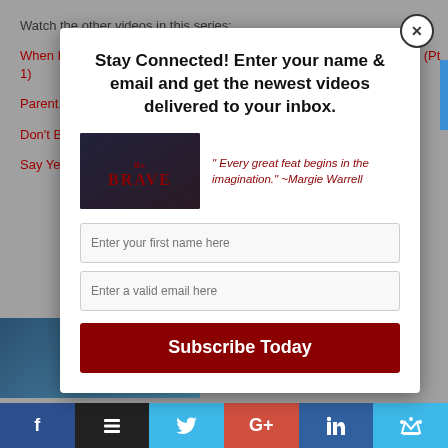Watch the other videos in this series:
When In Doubt, Love: Liz Dawes On Losing Her Son To Brain Cancer (Pt 1)
Parenting [truncated] ...wes (Pt 2)
Don't Be ... Dawes ...
Say Ye... ... (Pt 5)
[Figure (screenshot): Modal popup overlay with newsletter signup form. Contains title 'Stay Connected! Enter your name & email and get the newest videos delivered to your inbox.', a BeBrave branded image, a quote, two input fields and a Subscribe Today button.]
[Figure (infographic): Social sharing bar at bottom with Facebook, Buffer, Twitter, Google+, LinkedIn, and crown icon buttons.]